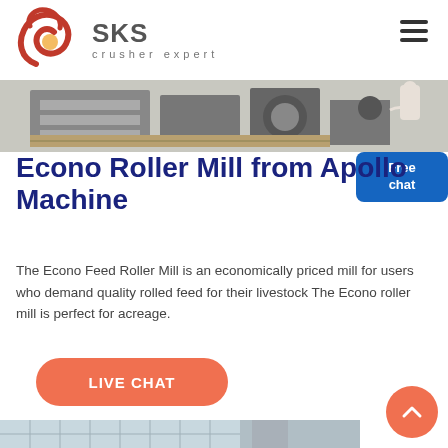[Figure (logo): SKS crusher expert logo with red swirl emblem and grey SKS text]
[Figure (photo): Industrial crusher machinery equipment photo at top of page]
Econo Roller Mill from Apollo Machine
The Econo Feed Roller Mill is an economically priced mill for users who demand quality rolled feed for their livestock The Econo roller mill is perfect for acreage.
[Figure (other): Free chat button overlay in blue]
[Figure (other): LIVE CHAT button in orange-red rounded rectangle]
[Figure (photo): Industrial facility or plant building photo at bottom of page]
[Figure (other): Scroll-up arrow button in orange circle at bottom right]